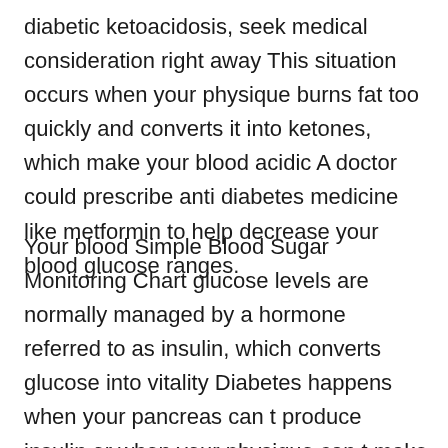diabetic ketoacidosis, seek medical consideration right away This situation occurs when your physique burns fat too quickly and converts it into ketones, which make your blood acidic A doctor could prescribe anti diabetes medicine like metformin to help decrease your blood glucose ranges.
Your blood Simple Blood Sugar Monitoring Chart glucose levels are normally managed by a hormone referred to as insulin, which converts glucose into vitality Diabetes happens when your pancreas can t produce insulin or when your physique can t make use of the insulin as a outcome of it s grown immune to it These aren t oral types of insulin they re sulfonylureas, chemically associated to the